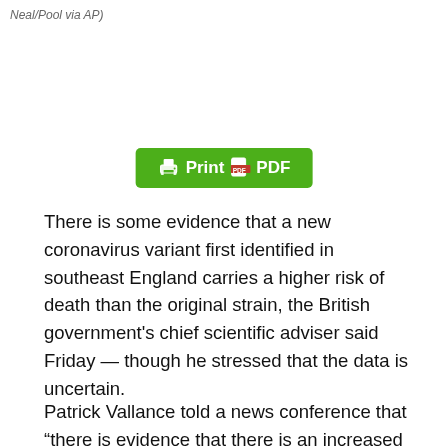Neal/Pool via AP)
[Figure (other): Print PDF button — a green button with printer and PDF icons]
There is some evidence that a new coronavirus variant first identified in southeast England carries a higher risk of death than the original strain, the British government's chief scientific adviser said Friday — though he stressed that the data is uncertain.
Patrick Vallance told a news conference that “there is evidence that there is an increased risk for those who have the new variant.”
He said that for a man in his 60s with the original version of the virus, “the average risk is that for 1,000 people who got infected, roughly 10 would be expected to unfortunately die.”